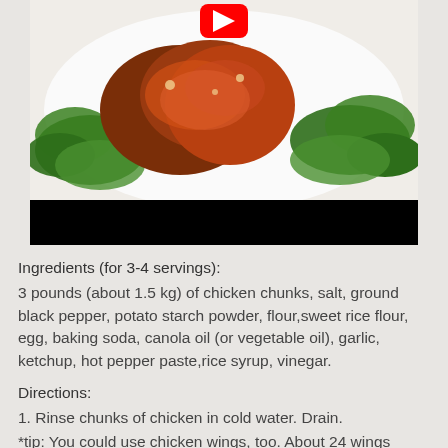[Figure (photo): Photo of fried chicken chunks with green herbs/parsley on a white plate, with a YouTube play button overlay and a black bar at the bottom (video thumbnail style)]
Ingredients (for 3-4 servings):
3 pounds (about 1.5 kg) of chicken chunks, salt, ground black pepper, potato starch powder, flour,sweet rice flour, egg, baking soda, canola oil (or vegetable oil), garlic, ketchup, hot pepper paste,rice syrup, vinegar.
Directions:
1. Rinse chunks of chicken in cold water. Drain.
*tip: You could use chicken wings, too. About 24 wings